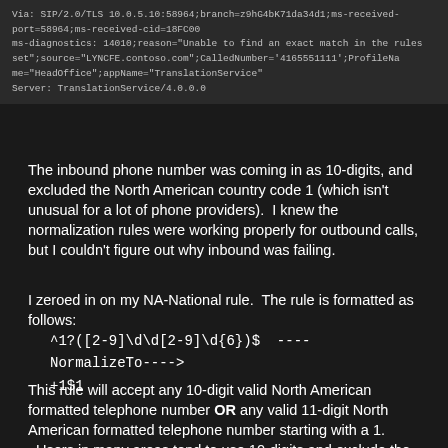Via: SIP/2.0/TLS 10.0.5.10:58964;branch=z9hG4bK71da34d1;ms-received-port=58964;ms-received-cid=18FC00
ms-diagnostics: 14010;reason="Unable to find an exact match in the rules set";source="LYNCFE.contoso.com";CalledNumber='4165551111';ProfileName="HeadOffice";appName="TranslationService"
Server: TranslationService/4.0.0.0
The inbound phone number was coming in as 10-digits, and excluded the North American country code 1 (which isn't unusual for a lot of phone providers).  I knew the normalization rules were working properly for outbound calls, but I couldn't figure out why inbound was failing.
I zeroed in on my NA-National rule.  The rule is formatted as follows:
^1?([2-9]\d\d[2-9]\d{6})$  ----NormalizeTo---->
+1$1
This rule will accept any 10-digit valid North American formatted telephone number OR any valid 11-digit North American formatted telephone number starting with a 1.
Users in many areas tend to use 10-digits and exclude the